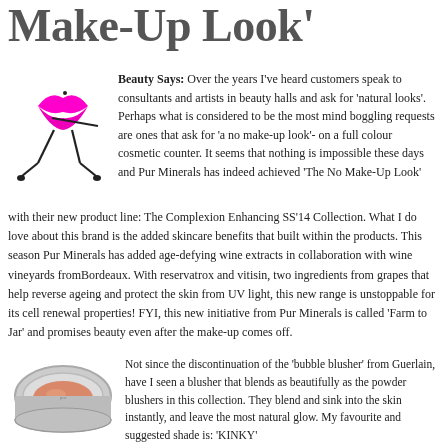Make-Up Look'
[Figure (illustration): Cartoon illustration of a pair of bright magenta/pink lips with stick-figure legs, resembling a walking lips character in black and pink.]
Beauty Says: Over the years I've heard customers speak to consultants and artists in beauty halls and ask for 'natural looks'. Perhaps what is considered to be the most mind boggling requests are ones that ask for 'a no make-up look'- on a full colour cosmetic counter. It seems that nothing is impossible these days and Pur Minerals has indeed achieved 'The No Make-Up Look' with their new product line: The Complexion Enhancing SS'14 Collection. What I do love about this brand is the added skincare benefits that built within the products. This season Pur Minerals has added age-defying wine extracts in collaboration with wine vineyards fromBordeaux. With reservatrox and vitisin, two ingredients from grapes that help reverse ageing and protect the skin from UV light, this new range is unstoppable for its cell renewal properties! FYI, this new initiative from Pur Minerals is called 'Farm to Jar' and promises beauty even after the make-up comes off.
[Figure (photo): Photo of a round silver compact powder blusher case, partially open, showing a coral/pink blusher inside.]
Not since the discontinuation of the 'bubble blusher' from Guerlain, have I seen a blusher that blends as beautifully as the powder blushers in this collection. They blend and sink into the skin instantly, and leave the most natural glow. My favourite and suggested shade is: 'KINKY'